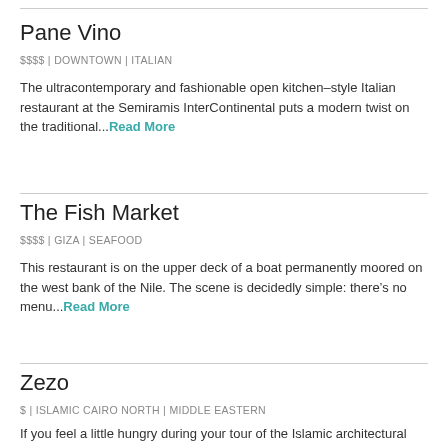Pane Vino
$$$$ | DOWNTOWN | ITALIAN
The ultracontemporary and fashionable open kitchen-style Italian restaurant at the Semiramis InterContinental puts a modern twist on the traditional...Read More
The Fish Market
$$$$ | GIZA | SEAFOOD
This restaurant is on the upper deck of a boat permanently moored on the west bank of the Nile. The scene is decidedly simple: there’s no menu...Read More
Zezo
$ | ISLAMIC CAIRO NORTH | MIDDLE EASTERN
If you feel a little hungry during your tour of the Islamic architectural